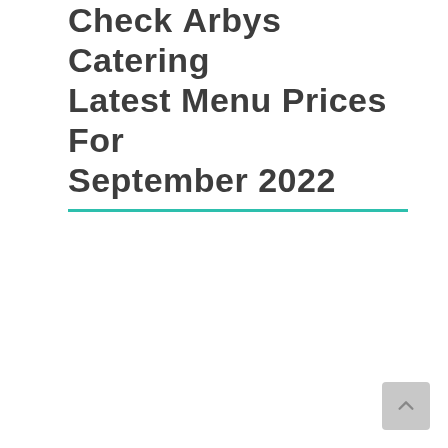Check Arbys Catering Latest Menu Prices For September 2022